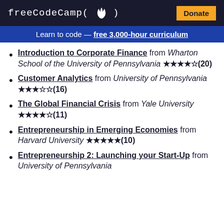freeCodeCamp(🔥) | Donate
Learn to code — free 3,000-hour curriculum
Introduction to Corporate Finance from Wharton School of the University of Pennsylvania ★★★★☆(20)
Customer Analytics from University of Pennsylvania ★★★☆☆(16)
The Global Financial Crisis from Yale University ★★★★☆(11)
Entrepreneurship in Emerging Economies from Harvard University ★★★★★(10)
Entrepreneurship 2: Launching your Start-Up from University of Pennsylvania